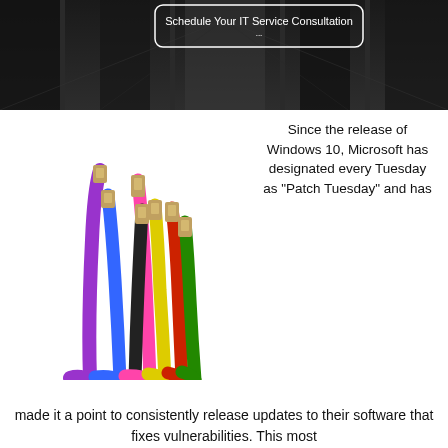[Figure (photo): Dark data center corridor background with a white rounded-rectangle button overlay reading 'Schedule Your IT Service Consultation']
[Figure (photo): Colorful Ethernet/network patch cables (purple, blue, black, yellow, red, green, pink) fanned out with gold RJ45 connectors visible at the top]
Since the release of Windows 10, Microsoft has designated every Tuesday as “Patch Tuesday” and has made it a point to consistently release updates to their software that fixes vulnerabilities. This most